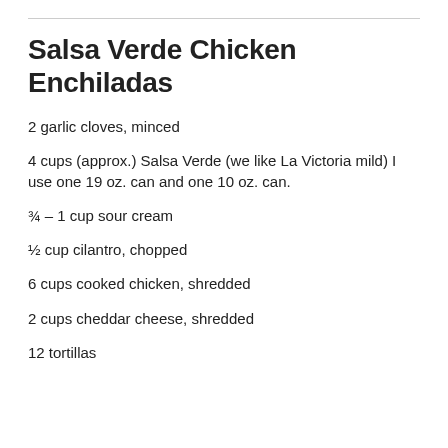Salsa Verde Chicken Enchiladas
2 garlic cloves, minced
4 cups (approx.) Salsa Verde (we like La Victoria mild) I use one 19 oz. can and one 10 oz. can.
¾ – 1 cup sour cream
½ cup cilantro, chopped
6 cups cooked chicken, shredded
2 cups cheddar cheese, shredded
12 tortillas